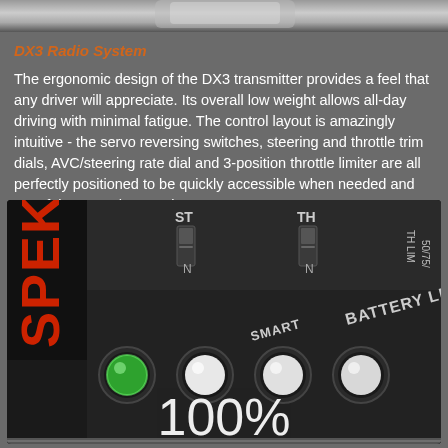[Figure (photo): Top strip of a product photo showing a radio transmitter controller]
DX3 Radio System
The ergonomic design of the DX3 transmitter provides a feel that any driver will appreciate. Its overall low weight allows all-day driving with minimal fatigue. The control layout is amazingly intuitive - the servo reversing switches, steering and throttle trim dials, AVC/steering rate dial and 3-position throttle limiter are all perfectly positioned to be quickly accessible when needed and out of the way when not in use.
[Figure (photo): Close-up photo of DX3 radio transmitter showing SPEKTRUM branding, ST and TH switches, SMART BATTERY LEVEL indicator with 4 LED circles (first glowing green), and 100% displayed in large white text at the bottom. TH LIM 50/75 visible on right edge.]